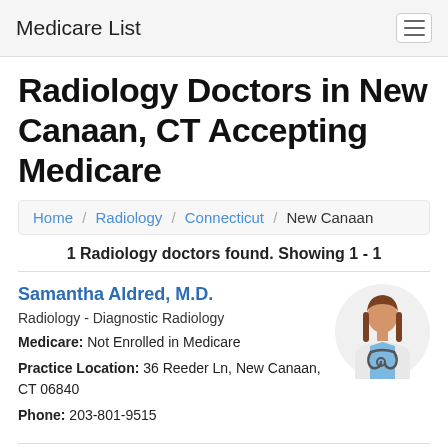Medicare List
Radiology Doctors in New Canaan, CT Accepting Medicare
Home / Radiology / Connecticut / New Canaan
1 Radiology doctors found. Showing 1 - 1
Samantha Aldred, M.D.
Radiology - Diagnostic Radiology
Medicare: Not Enrolled in Medicare
Practice Location: 36 Reeder Ln, New Canaan, CT 06840
Phone: 203-801-9515